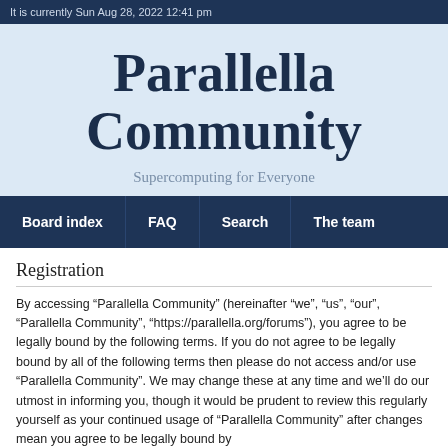It is currently Sun Aug 28, 2022 12:41 pm
Parallella Community
Supercomputing for Everyone
Board index | FAQ | Search | The team
Registration
By accessing “Parallella Community” (hereinafter “we”, “us”, “our”, “Parallella Community”, “https://parallella.org/forums”), you agree to be legally bound by the following terms. If you do not agree to be legally bound by all of the following terms then please do not access and/or use “Parallella Community”. We may change these at any time and we’ll do our utmost in informing you, though it would be prudent to review this regularly yourself as your continued usage of “Parallella Community” after changes mean you agree to be legally bound by